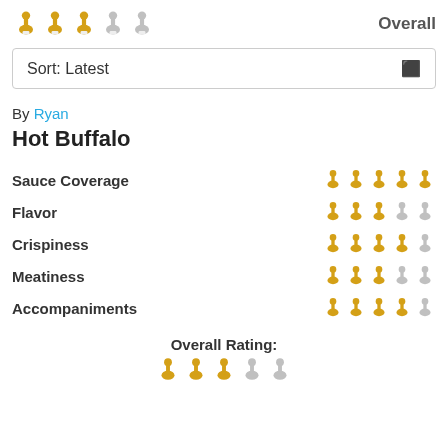[Figure (infographic): 3 gold drumstick icons and 2 gray drumstick icons representing an overall rating of 3 out of 5]
Overall
Sort: Latest
By Ryan
Hot Buffalo
Sauce Coverage — 5 gold drumsticks
Flavor — 3 gold, 2 gray drumsticks
Crispiness — 4 gold, 1 gray drumstick
Meatiness — 3 gold, 2 gray drumsticks
Accompaniments — 4 gold, 1 gray drumstick
Overall Rating:
[Figure (infographic): 3 gold and 2 gray drumstick icons for overall rating]